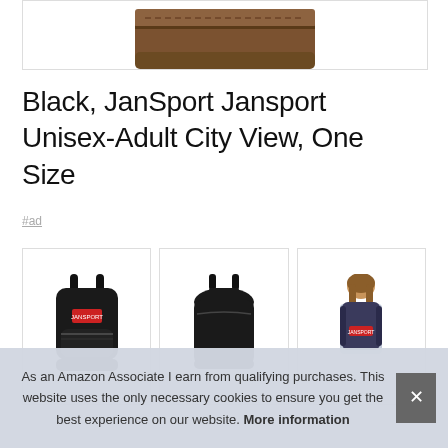[Figure (photo): Partial view of a brown leather-bottom backpack, bottom portion cropped, inside a bordered box]
Black, JanSport Jansport Unisex-Adult City View, One Size
#ad
[Figure (photo): Three thumbnail images of JanSport backpacks: front view of black backpack, front view of another black backpack, and back view showing a person wearing a blue/black JanSport backpack]
As an Amazon Associate I earn from qualifying purchases. This website uses the only necessary cookies to ensure you get the best experience on our website. More information